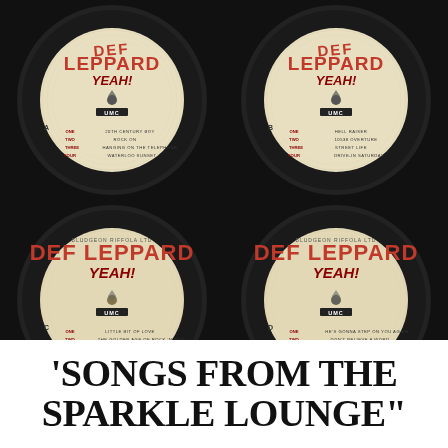[Figure (photo): Four vinyl record label photos (2x2 grid) for Def Leppard 'YEAH!' album. Top-left: Side A label with tracks: ONE 20TH CENTURY BOY, TWO ROCK ON, THREE HANGING ON THE TELEPHONE, FOUR WATERLOO SUNSET. Top-right: Side B label with tracks: ONE HELL RAISER, TWO 10538 OVERTURE, THREE STREET LIFE, FOUR DRIVE-IN SATURDAY. Bottom-left: Side C label with tracks: ONE LITTLE BIT OF LOVE, TWO THE GOLDEN AGE OF ROCK 'N' ROLL, THREE NO MATTER WHAT. Bottom-right: Side D label with tracks: ONE HE'S GONNA STEP ON YOU AGAIN, TWO DON'T BELIEVE A WORD, THREE STAY WITH ME. All on Mercury/UMC labels.]
'SONGS FROM THE SPARKLE LOUNGE"